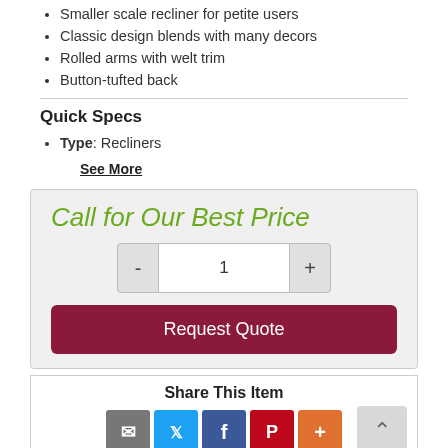Smaller scale recliner for petite users
Classic design blends with many decors
Rolled arms with welt trim
Button-tufted back
Quick Specs
Type: Recliners
See More
Call for Our Best Price
1
Request Quote
Share This Item